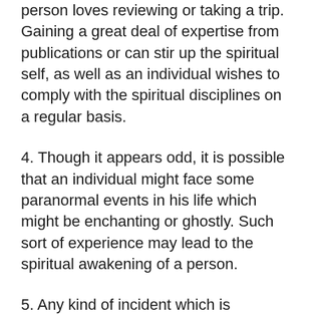person loves reviewing or taking a trip. Gaining a great deal of expertise from publications or can stir up the spiritual self, as well as an individual wishes to comply with the spiritual disciplines on a regular basis.
4. Though it appears odd, it is possible that an individual might face some paranormal events in his life which might be enchanting or ghostly. Such sort of experience may lead to the spiritual awakening of a person.
5. Any kind of incident which is unforeseen might take place at any moment, a mishap, death case, trauma, failure, loss, etc. These may instantly lead to spiritual awakening. Suppose if a person sheds somebody close